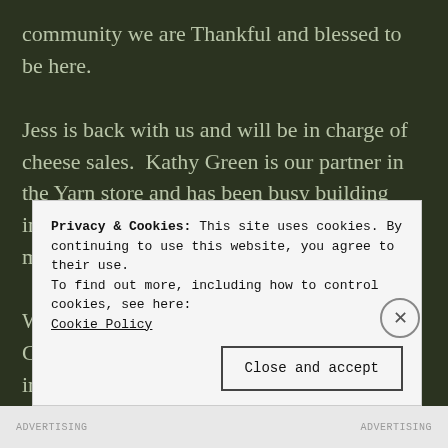community we are Thankful and blessed to be here.
Jess is back with us and will be in charge of cheese sales.  Kathy Green is our partner in the Yarn store and has been busy building inventory and readying all the product for the move to the new facility.
We feel we have once again made it to Base Camp.  Each new venture and each new turn in o... d...
Privacy & Cookies: This site uses cookies. By continuing to use this website, you agree to their use.
To find out more, including how to control cookies, see here:
Cookie Policy
Close and accept